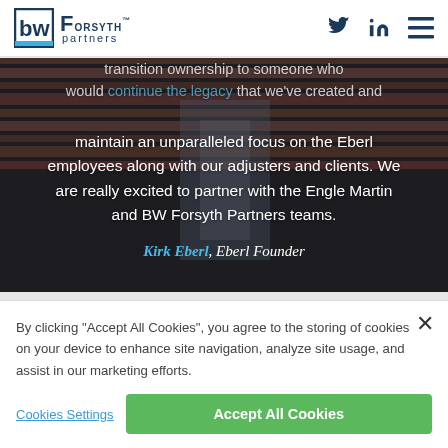BW Forsyth Partners
[Figure (photo): Website screenshot showing BW Forsyth Partners header with logo and social media icons (Twitter, LinkedIn, hamburger menu), overlaid on a hero image of wooden architectural elements with a quote from Kirk Eberl, Eberl Founder]
transition ownership to someone who would continue the legacy that we've created and maintain an unparalleled focus on the Eberl employees along with our adjusters and clients. We are really excited to partner with the Engle Martin and BW Forsyth Partners teams.
Kirk Eberl, Eberl Founder
By clicking "Accept All Cookies", you agree to the storing of cookies on your device to enhance site navigation, analyze site usage, and assist in our marketing efforts.
Cookies Settings
Accept All Cookies